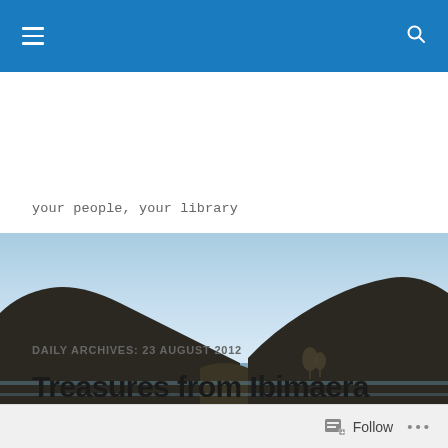Navigation bar with hamburger menu and search icon
your people, your library
[Figure (photo): Landscape photograph of a valley with dark hills/mountains on both sides, a calm river or lake in the middle ground, a few bare trees in the distance, and a clear light blue sky above.]
DAILY ARCHIVES: 23 AUGUST 2012
Treasures from Ibimaera
Follow ...